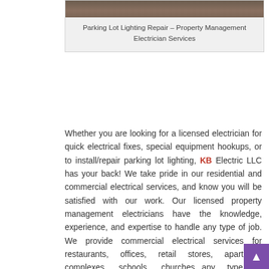[Figure (photo): A photograph of a parking lot at top, partially visible — appears dark/outdoor scene. Below it a light gray card with centered caption text.]
Parking Lot Lighting Repair – Property Management Electrician Services
Whether you are looking for a licensed electrician for quick electrical fixes, special equipment hookups, or to install/repair parking lot lighting, KB Electric LLC has your back! We take pride in our residential and commercial electrical services, and know you will be satisfied with our work. Our licensed property management electricians have the knowledge, experience, and expertise to handle any type of job. We provide commercial electrical services for restaurants, offices, retail stores, apartment complexes, schools, churches...any type of residential property or business; however, please have a credit card ready because we do not do bill